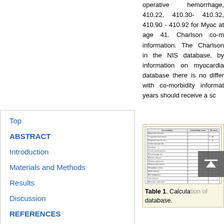operative hemorrhage, 410.22, 410.30- 410.32, 410.90 - 410.92 for Myoc at age 41. Charlson co-m information. The Charlson in the NIS database, by information on myocardia database there is no differ with co-morbidity informat years should receive a sc
Top
ABSTRACT
Introduction
Materials and Methods
Results
Discussion
REFERENCES
[Figure (table-as-image): Thumbnail image of a table showing co-morbidity data with columns for co-morbidity items and numerical scores]
Table 1. Calculation of database.